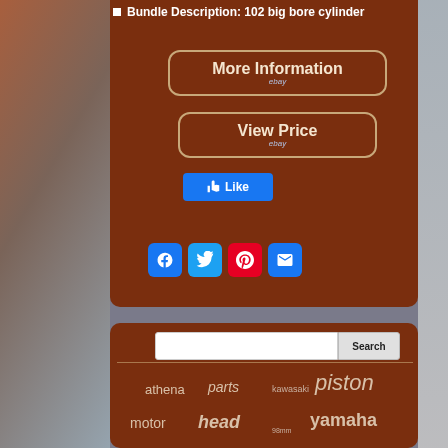Bundle Description: 102 big bore cylinder
[Figure (screenshot): More Information button with ebay branding, rounded rectangle border]
[Figure (screenshot): View Price button with ebay branding, rounded rectangle border]
[Figure (screenshot): Facebook Like button]
[Figure (screenshot): Social share icons: Facebook, Twitter, Pinterest, Email]
[Figure (screenshot): Search bar with Search button]
athena  parts  kawasaki  piston  motor  head  98mm  yamaha